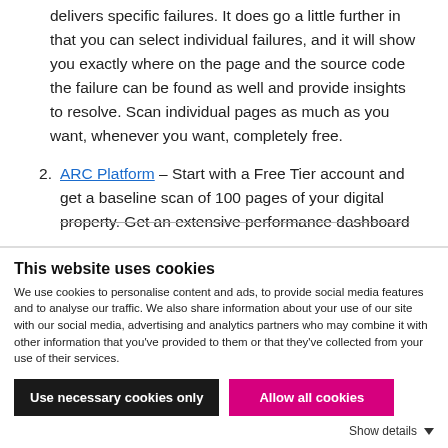delivers specific failures. It does go a little further in that you can select individual failures, and it will show you exactly where on the page and the source code the failure can be found as well and provide insights to resolve. Scan individual pages as much as you want, whenever you want, completely free.
2. ARC Platform – Start with a Free Tier account and get a baseline scan of 100 pages of your digital property. Get an extensive performance dashboard...
This website uses cookies
We use cookies to personalise content and ads, to provide social media features and to analyse our traffic. We also share information about your use of our site with our social media, advertising and analytics partners who may combine it with other information that you've provided to them or that they've collected from your use of their services.
Use necessary cookies only
Allow all cookies
Show details